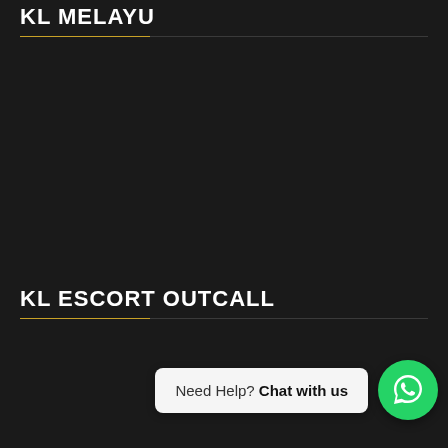KL MELAYU
KL ESCORT OUTCALL
Need Help? Chat with us